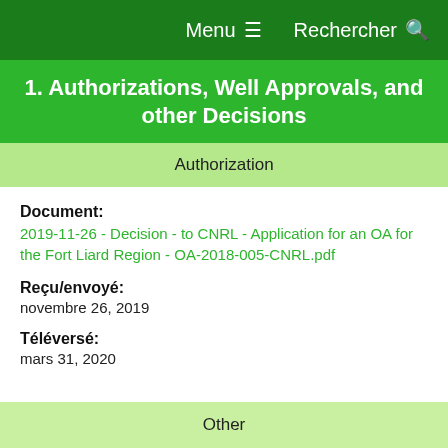Menu  Rechercher
1. Authorizations, Well Approvals, and other Decisions
| Authorization |
| --- |
Document:
2019-11-26 - Decision - to CNRL - Application for an OA for the Fort Liard Region - OA-2018-005-CNRL.pdf
Reçu/envoyé:
novembre 26, 2019
Téléversé:
mars 31, 2020
| Other |
| --- |